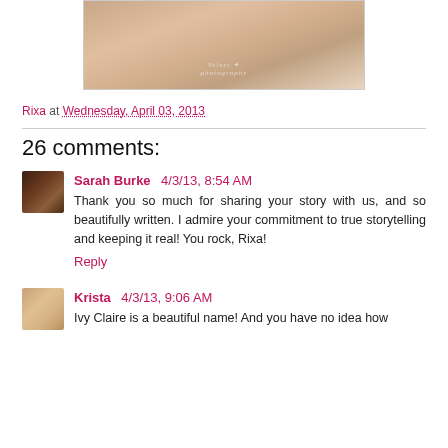[Figure (photo): Partial photo of a newborn baby being held, with a patterned blanket, watermark visible]
Rixa at Wednesday, April 03, 2013
26 comments:
Sarah Burke 4/3/13, 8:54 AM
Thank you so much for sharing your story with us, and so beautifully written. I admire your commitment to true storytelling and keeping it real! You rock, Rixa!
Reply
Krista 4/3/13, 9:06 AM
Ivy Claire is a beautiful name! And you have no idea how